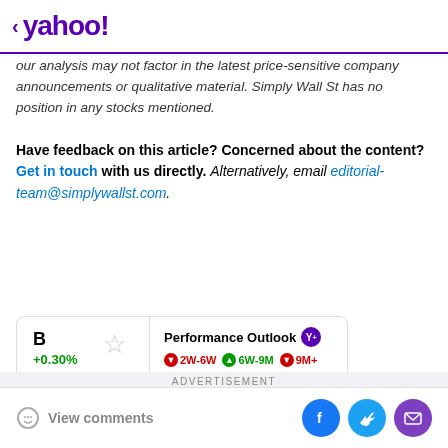< yahoo!
our analysis may not factor in the latest price-sensitive company announcements or qualitative material. Simply Wall St has no position in any stocks mentioned.
Have feedback on this article? Concerned about the content? Get in touch with us directly. Alternatively, email editorial-team@simplywallst.com.
[Figure (infographic): Stock card showing ticker B with +0.30% change and Performance Outlook with Y+ badge, indicators for 2W-6W (down), 6W-9M (up), 9M+ (down)]
ADVERTISEMENT
[Figure (photo): Orange and dark advertisement banner image]
View comments | Facebook | Twitter | Email